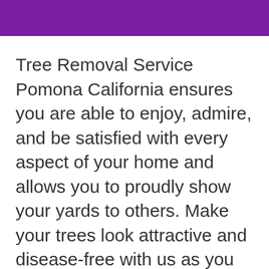Tree Removal Service Pomona California ensures you are able to enjoy, admire, and be satisfied with every aspect of your home and allows you to proudly show your yards to others. Make your trees look attractive and disease-free with us as you also make your home and surroundings pest-free.